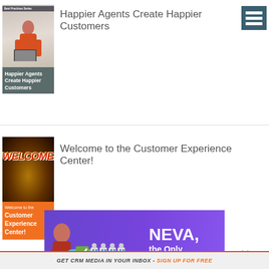[Figure (illustration): Book cover thumbnail: 'Happier Agents Create Happier Customers' with woman at laptop, dark teal background]
Happier Agents Create Happier Customers
[Figure (illustration): Hamburger menu icon, dark teal background with three white horizontal lines]
[Figure (illustration): Book cover thumbnail: 'Welcome to the Customer Experience Center!' with orange background and welcome sign]
Welcome to the Customer Experience Center!
[Figure (illustration): NEVA promotional banner with purple background, robot characters, and NEVA, the Only text]
GET CRM MEDIA IN YOUR INBOX - SIGN UP FOR FREE